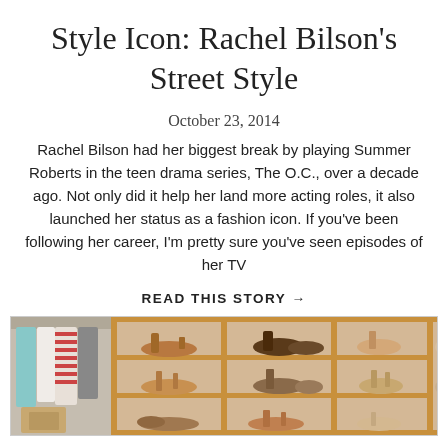Style Icon: Rachel Bilson's Street Style
October 23, 2014
Rachel Bilson had her biggest break by playing Summer Roberts in the teen drama series, The O.C., over a decade ago. Not only did it help her land more acting roles, it also launched her status as a fashion icon. If you've been following her career, I'm pretty sure you've seen episodes of her TV
READ THIS STORY →
[Figure (photo): A walk-in closet with hanging clothes on the left and wooden shelving units filled with various shoes and sandals on the right.]